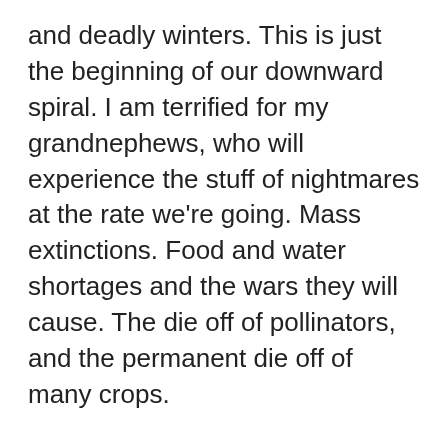and deadly winters. This is just the beginning of our downward spiral. I am terrified for my grandnephews, who will experience the stuff of nightmares at the rate we're going. Mass extinctions. Food and water shortages and the wars they will cause. The die off of pollinators, and the permanent die off of many crops.
Another thing I'd rather not stick around for is the justified recriminations that younger